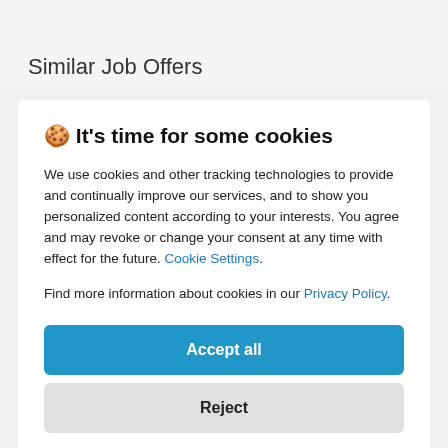Similar Job Offers
🍪 It's time for some cookies
We use cookies and other tracking technologies to provide and continually improve our services, and to show you personalized content according to your interests. You agree and may revoke or change your consent at any time with effect for the future. Cookie Settings.
Find more information about cookies in our Privacy Policy.
Accept all
Reject